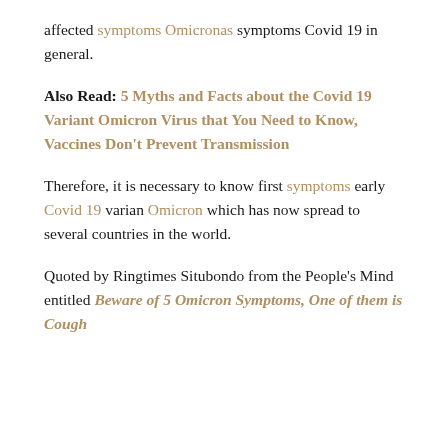affected symptoms Omicronas symptoms Covid 19 in general.
Also Read: 5 Myths and Facts about the Covid 19 Variant Omicron Virus that You Need to Know, Vaccines Don't Prevent Transmission
Therefore, it is necessary to know first symptoms early Covid 19 varian Omicron which has now spread to several countries in the world.
Quoted by Ringtimes Situbondo from the People's Mind entitled Beware of 5 Omicron Symptoms, One of them is Cough